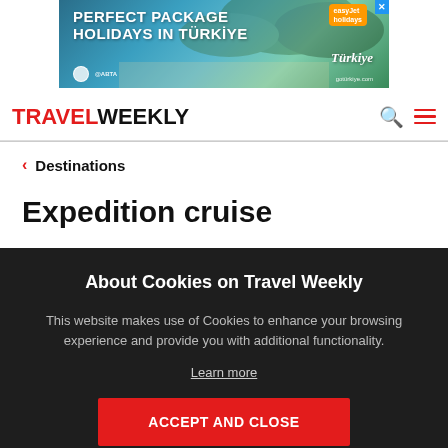[Figure (photo): Advertisement banner for Perfect Package Holidays in Türkiye, showing turquoise bay with green coastline and mountains. Includes 'easyJet holidays' orange badge and Türkiye logo with gotürkiye.com URL. ABTA logo visible bottom left.]
TRAVEL WEEKLY
< Destinations
Expedition cruise
About Cookies on Travel Weekly
This website makes use of Cookies to enhance your browsing experience and provide you with additional functionality.
Learn more
ACCEPT AND CLOSE